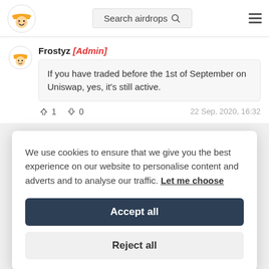Search airdrops
Frostyz [Admin]
If you have traded before the 1st of September on Uniswap, yes, it's still active.
👍 1   👎 0   22 Sep, 2020, 16:32
We use cookies to ensure that we give you the best experience on our website to personalise content and adverts and to analyse our traffic. Let me choose
Accept all
Reject all